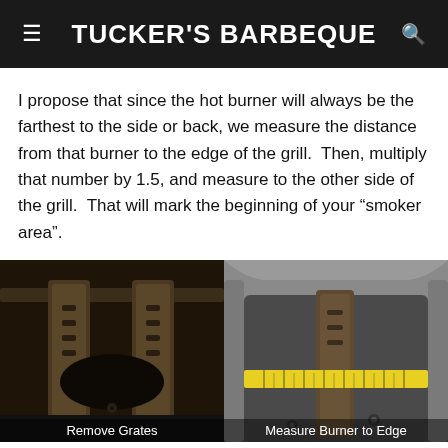TUCKER'S BARBEQUE
I propose that since the hot burner will always be the farthest to the side or back, we measure the distance from that burner to the edge of the grill.  Then, multiply that number by 1.5, and measure to the other side of the grill.  That will mark the beginning of your “smoker area”.
[Figure (photo): Interior of a gas grill with grates removed, showing two metal burner covers/flame tamers and dark carbonized residue on the grill floor. Caption: Remove Grates]
[Figure (photo): Interior of a gas grill with grates removed showing a yellow measuring tape laid horizontally across the burner to the edge of the grill. Caption: Measure Burner to Edge]